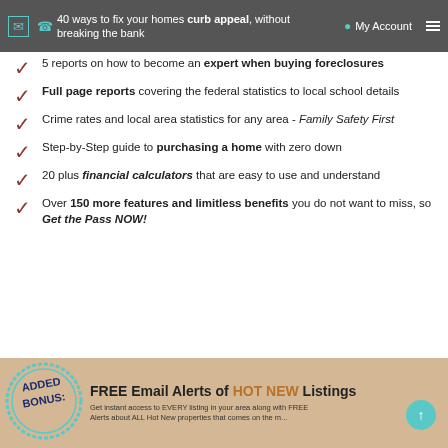40 ways to fix your homes curb appeal, without breaking the bank | My Account
5 reports on how to become an expert when buying foreclosures
Full page reports covering the federal statistics to local school details
Crime rates and local area statistics for any area - Family Safety First
Step-by-Step guide to purchasing a home with zero down
20 plus financial calculators that are easy to use and understand
Over 150 more features and limitless benefits you do not want to miss, so Get the Pass NOW!
[Figure (infographic): Added Bonus stamp graphic with teal border and dark blue bold text]
FREE Email Alerts of HOT NEW Listings - Get instant access to EVERY listing in your area along with FREE Alerts about ALL Hot New properties that comes on the m...